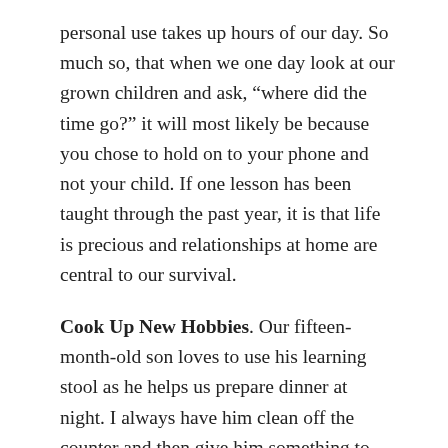personal use takes up hours of our day. So much so, that when we one day look at our grown children and ask, “where did the time go?” it will most likely be because you chose to hold on to your phone and not your child. If one lesson has been taught through the past year, it is that life is precious and relationships at home are central to our survival.
Cook Up New Hobbies. Our fifteen-month-old son loves to use his learning stool as he helps us prepare dinner at night. I always have him clean off the counter and then give him something to keep him busy as I cook. He loves it. So, for Christmas we decided his “big gift” would be a garden to kitchen play set, which each night he makes us plastic lettuce wraps and uses the